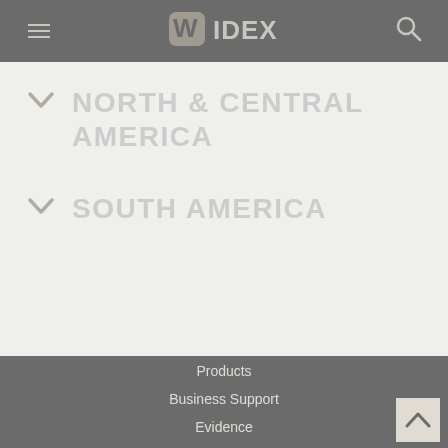WIDEX
NORTH & CENTRAL AMERICA
SOUTH AMERICA
Products
Business Support
Evidence